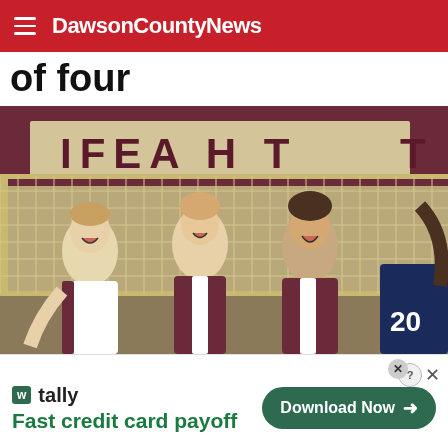DawsonCountyNews
of four
[Figure (photo): Volleyball players celebrating at the net inside a gym with maroon and white 'HEART' banner visible in the background. Several players in maroon/white uniforms are laughing and celebrating, with a player wearing jersey #20 visible on the right.]
[Figure (screenshot): Advertisement for Tally app: 'Fast credit card payoff' with a green 'Download Now' button and close/help icons in the top right corner.]